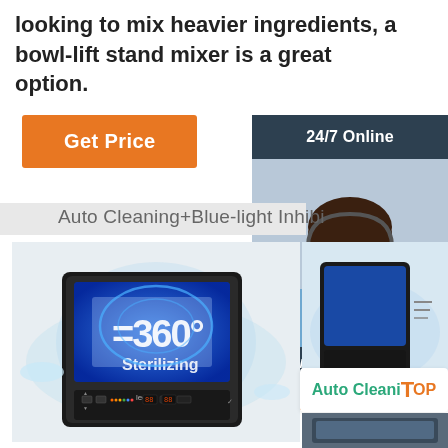looking to mix heavier ingredients, a bowl-lift stand mixer is a great option.
[Figure (other): Orange 'Get Price' button]
[Figure (other): Dark teal '24/7 Online' banner with customer service representative photo, 'Click here for free chat!' text, and orange 'QUOTATION' button]
[Figure (other): Product advertisement showing ice maker machines with '360° Sterilizing' and 'Auto Cleaning+Blue-light Inhibi...' text, Auto Cleaning badge, and TOP badge]